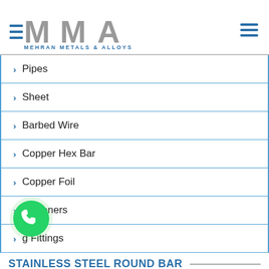MMA Mehran Metals & Alloys
Pipes
Sheet
Barbed Wire
Copper Hex Bar
Copper Foil
Fasteners
g Fittings
STAINLESS STEEL ROUND BAR
[Figure (logo): MMA Mehran Metals & Alloys logo with grey stylized letters and blue horizontal lines]
[Figure (illustration): WhatsApp green circular button with phone handset icon]